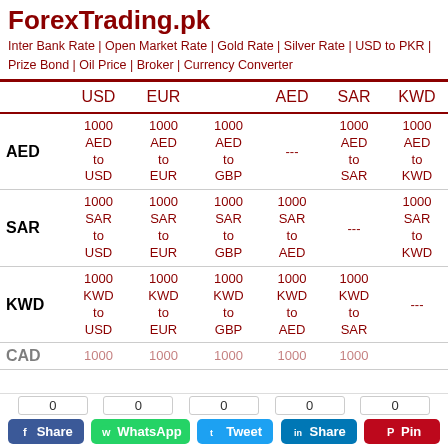ForexTrading.pk
Inter Bank Rate | Open Market Rate | Gold Rate | Silver Rate | USD to PKR | Prize Bond | Oil Price | Broker | Currency Converter
|  | USD | EUR |  | AED | SAR | KWD |
| --- | --- | --- | --- | --- | --- | --- |
| AED | 1000 AED to USD | 1000 AED to EUR | 1000 AED to GBP | --- | 1000 AED to SAR | 1000 AED to KWD |
| SAR | 1000 SAR to USD | 1000 SAR to EUR | 1000 SAR to GBP | 1000 SAR to AED | --- | 1000 SAR to KWD |
| KWD | 1000 KWD to USD | 1000 KWD to EUR | 1000 KWD to GBP | 1000 KWD to AED | 1000 KWD to SAR | --- |
| CAD | 1000... | 1000... | 1000... | 1000... | 1000... |  |
Close x
0 | 0 | 0 | 0 | 0 | Share | WhatsApp | Tweet | Share | Pin